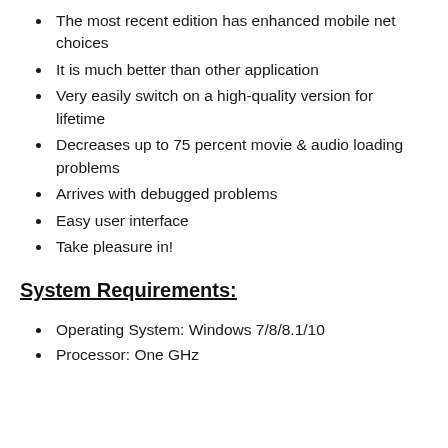The most recent edition has enhanced mobile net choices
It is much better than other application
Very easily switch on a high-quality version for lifetime
Decreases up to 75 percent movie & audio loading problems
Arrives with debugged problems
Easy user interface
Take pleasure in!
System Requirements:
Operating System: Windows 7/8/8.1/10
Processor: One GHz